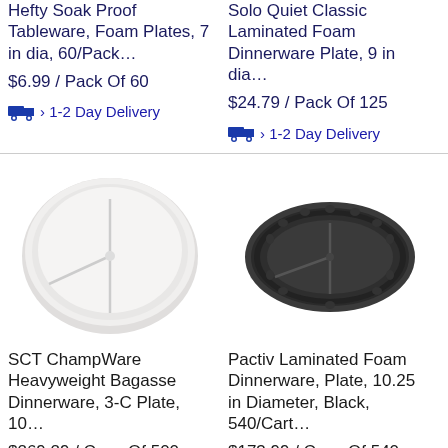Hefty Soak Proof Tableware, Foam Plates, 7 in dia, 60/Pack…
$6.99 / Pack Of 60
› 1-2 Day Delivery
Solo Quiet Classic Laminated Foam Dinnerware Plate, 9 in dia…
$24.79 / Pack Of 125
› 1-2 Day Delivery
[Figure (photo): White round divided plate (3-compartment) - SCT ChampWare Heavyweight Bagasse Dinnerware]
[Figure (photo): Black round divided plate (3-compartment) - Pactiv Laminated Foam Dinnerware]
SCT ChampWare Heavyweight Bagasse Dinnerware, 3-C Plate, 10…
$269.29 / Case Of 500
Pactiv Laminated Foam Dinnerware, Plate, 10.25 in Diameter, Black, 540/Cart…
$173.99 / Case Of 540